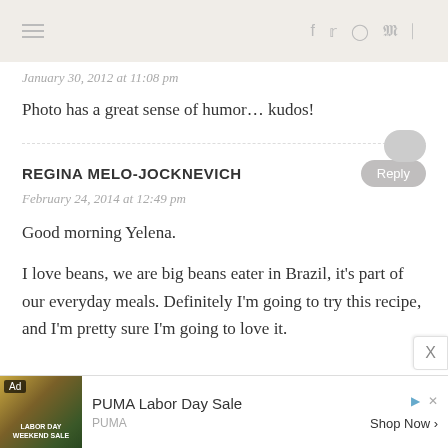Navigation and social icons bar
January 30, 2012 at 11:08 pm
Photo has a great sense of humor… kudos!
REGINA MELO-JOCKNEVICH
February 24, 2014 at 12:49 pm
Good morning Yelena.

I love beans, we are big beans eater in Brazil, it's part of our everyday meals. Definitely I'm going to try this recipe, and I'm pretty sure I'm going to love it.
[Figure (advertisement): PUMA Labor Day Sale advertisement with jungle background image, Ad label, PUMA brand, Shop Now button]